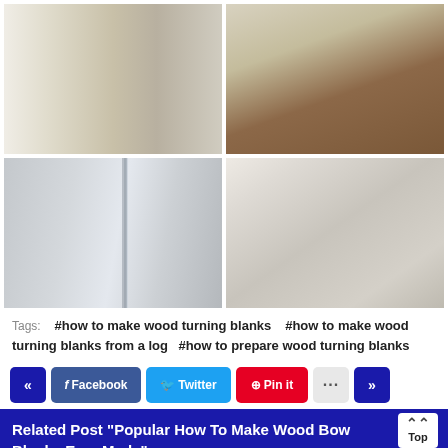[Figure (photo): White kitchen with stainless steel appliances including refrigerator, stove, and microwave]
[Figure (photo): Bathroom vanity with dark wood cabinets and white countertop with mirror above]
[Figure (photo): Close-up of glass panels or sliding door]
[Figure (photo): 3D render of modern kitchen with white cabinets and light wood flooring]
Tags:   #how to make wood turning blanks    #how to make wood turning blanks from a log   #how to prepare wood turning blanks
« Facebook Twitter Pin it ... »
Related Post "Popular How To Make Wood Bowl Blanks Ever Made"